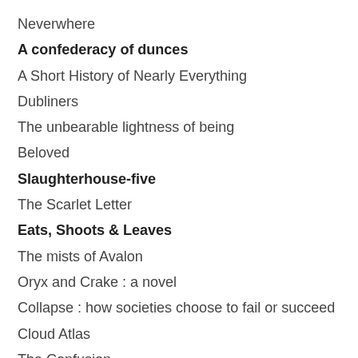Neverwhere
A confederacy of dunces
A Short History of Nearly Everything
Dubliners
The unbearable lightness of being
Beloved
Slaughterhouse-five
The Scarlet Letter
Eats, Shoots & Leaves
The mists of Avalon
Oryx and Crake : a novel
Collapse : how societies choose to fail or succeed
Cloud Atlas
The Confusion
Lolita